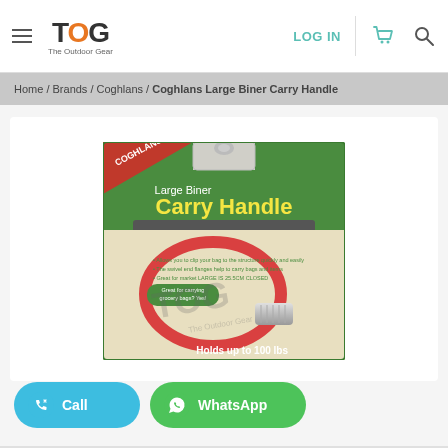TOG - The Outdoor Gear | LOG IN | Cart | Search
Home / Brands / Coghlans / Coghlans Large Biner Carry Handle
[Figure (photo): Product packaging photo of Coghlans Large Biner Carry Handle. Green card backing with red banner showing Coghlans brand. Yellow text reads 'Large Biner Carry Handle'. Red carabiner-style handle visible. Text says 'Holds up to 100 lbs'. TOG watermark overlay.]
Call | WhatsApp